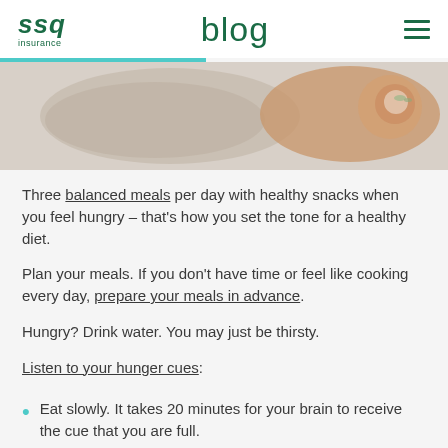SSQ insurance | blog
[Figure (photo): Overhead photo of a wooden cutting board with a linen cloth and a small wooden bowl with herbs on a light background]
Three balanced meals per day with healthy snacks when you feel hungry – that's how you set the tone for a healthy diet.
Plan your meals. If you don't have time or feel like cooking every day, prepare your meals in advance.
Hungry? Drink water. You may just be thirsty.
Listen to your hunger cues:
Eat slowly. It takes 20 minutes for your brain to receive the cue that you are full.